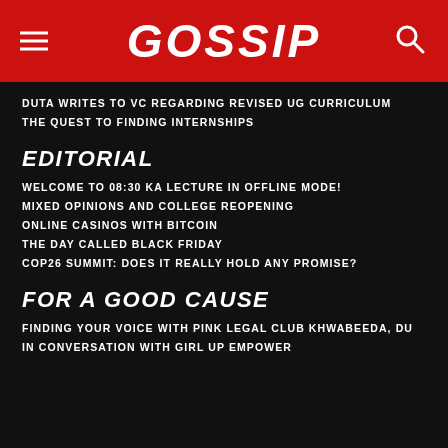GOSSIP
DUTA WRITES TO VC REGARDING REVISED UG CURRICULUM
THE QUEST TO FINDING INTERNSHIPS
EDITORIAL
WELCOME TO 08:30 KA LECTURE IN OFFLINE MODE!
MIXED OPINIONS AND COLLEGE REOPENING
ONLINE CASINOS WITH BITCOIN
THE DAY CALLED BLACK FRIDAY
COP26 SUMMIT: DOES IT REALLY HOLD ANY PROMISE?
FOR A GOOD CAUSE
FINDING YOUR VOICE WITH PINK LEGAL CLUB KHWABEEDA, DU
IN CONVERSATION WITH GIRL UP EMPOWER